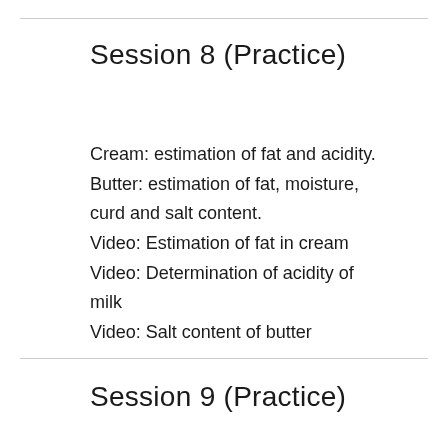Session 8 (Practice)
Cream: estimation of fat and acidity.
Butter: estimation of fat, moisture, curd and salt content.
Video: Estimation of fat in cream
Video: Determination of acidity of milk
Video: Salt content of butter
Session 9 (Practice)